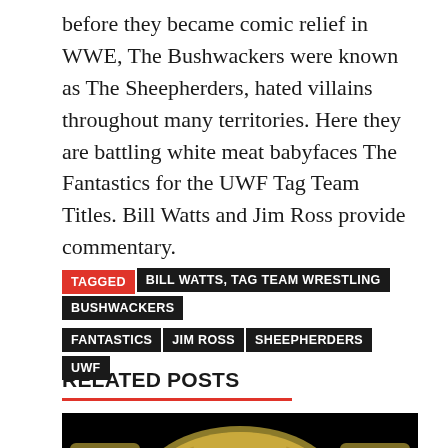before they became comic relief in WWE, The Bushwackers were known as The Sheepherders, hated villains throughout many territories. Here they are battling white meat babyfaces The Fantastics for the UWF Tag Team Titles. Bill Watts and Jim Ross provide commentary.
TAGGED: BILL WATTS, TAG TEAM WRESTLING, BUSHWACKERS, FANTASTICS, JIM ROSS, SHEEPHERDERS, UWF
RELATED POSTS
[Figure (photo): Dark image of a gold wrestling championship belt with ornate decorations, partially visible text reading HEAVYWEIGHT WRESTLING CHAMPION on a black background]